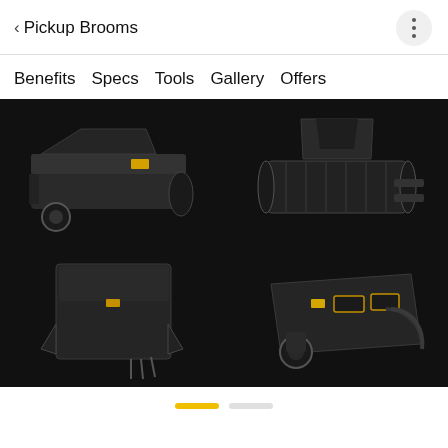< Pickup Brooms
Benefits  Specs  Tools  Gallery  Offers
[Figure (photo): Four pickup broom product images in a 2x2 grid on black background: top-left shows side view of pickup broom with wheel, top-right shows front view of broom mechanism, bottom-left shows rear/top view of broom unit, bottom-right shows another angle with hydraulic hoses and support wheel]
[Figure (other): Page indicator dots: one yellow active indicator and one white/grey inactive indicator]